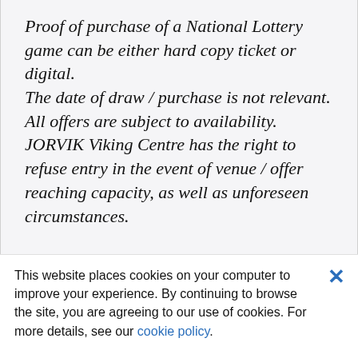Proof of purchase of a National Lottery game can be either hard copy ticket or digital.
The date of draw / purchase is not relevant.
All offers are subject to availability. JORVIK Viking Centre has the right to refuse entry in the event of venue / offer reaching capacity, as well as unforeseen circumstances.
This website places cookies on your computer to improve your experience. By continuing to browse the site, you are agreeing to our use of cookies. For more details, see our cookie policy.